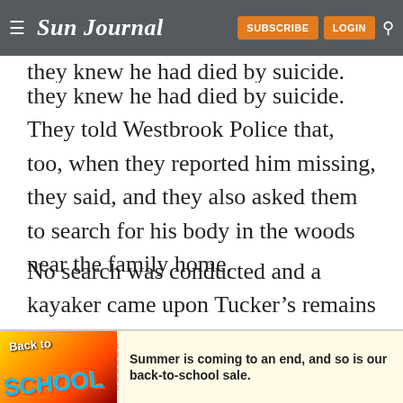Sun Journal — SUBSCRIBE LOGIN
they knew he had died by suicide. They told Westbrook Police that, too, when they reported him missing, they said, and they also asked them to search for his body in the woods near the family home.
No search was conducted and a kayaker came upon Tucker's remains Oct. 31 along the banks of the Presumpscot River near the intersection of East Bridge Street and Route 302, just over a mile from home and in the area his family last
[Figure (illustration): Back to School advertisement banner: colorful logo with 'Back to School' text and message 'Summer is coming to an end, and so is our back-to-school sale.']